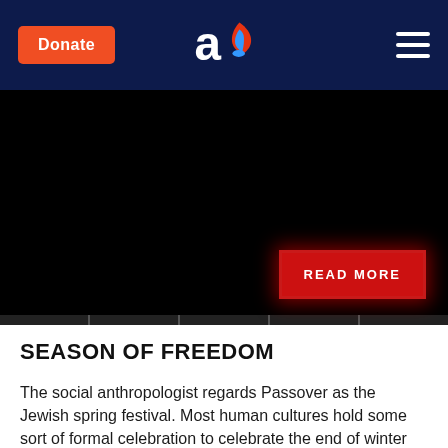Donate | Aish logo | Menu
[Figure (photo): Black image area with a red 'READ MORE' button overlay and carousel navigation strip at the bottom]
SEASON OF FREEDOM
The social anthropologist regards Passover as the Jewish spring festival. Most human cultures hold some sort of formal celebration to celebrate the end of winter and the arrival of new life in the spring. In the view of the anthropologist, Passover is the Jewish version of this universal human experience.